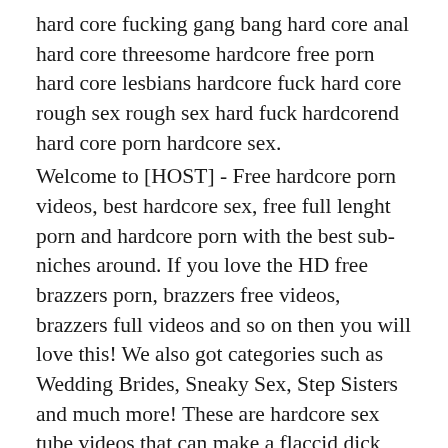hard core fucking gang bang hard core anal hard core threesome hardcore free porn hard core lesbians hardcore fuck hard core rough sex rough sex hard fuck hardcorend hard core porn hardcore sex.
Welcome to [HOST] - Free hardcore porn videos, best hardcore sex, free full lenght porn and hardcore porn with the best sub-niches around. If you love the HD free brazzers porn, brazzers free videos, brazzers full videos and so on then you will love this! We also got categories such as Wedding Brides, Sneaky Sex, Step Sisters and much more! These are hardcore sex tube videos that can make a flaccid dick cum. Since the dawn of modern pornography, there has been a tendency to see how far the sex could go and how faithfully it could be